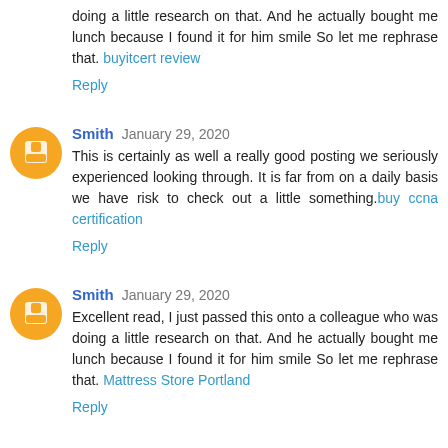doing a little research on that. And he actually bought me lunch because I found it for him smile So let me rephrase that. buyitcert review
Reply
Smith January 29, 2020
This is certainly as well a really good posting we seriously experienced looking through. It is far from on a daily basis we have risk to check out a little something.buy ccna certification
Reply
Smith January 29, 2020
Excellent read, I just passed this onto a colleague who was doing a little research on that. And he actually bought me lunch because I found it for him smile So let me rephrase that. Mattress Store Portland
Reply